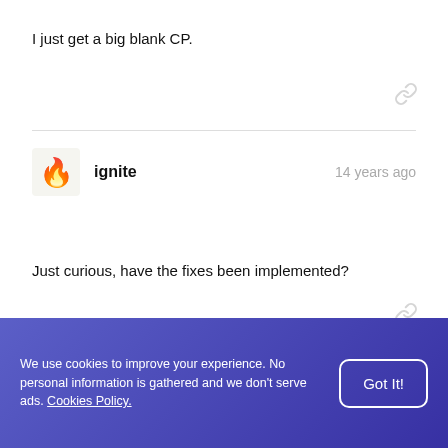I just get a big blank CP.
ignite · 14 years ago
Just curious, have the fixes been implemented?
We use cookies to improve your experience. No personal information is gathered and we don't serve ads. Cookies Policy.